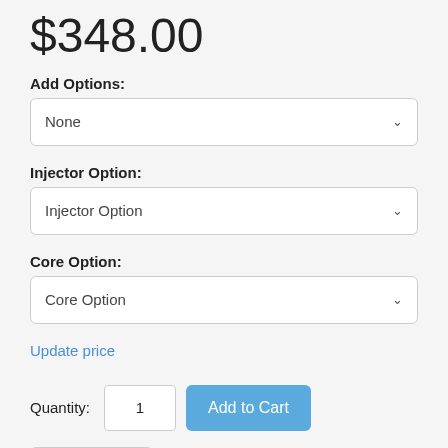$348.00
Add Options:
None
Injector Option:
Injector Option
Core Option:
Core Option
Update price
Quantity: 1
Add to Cart
Move to List
Estimate Shipping